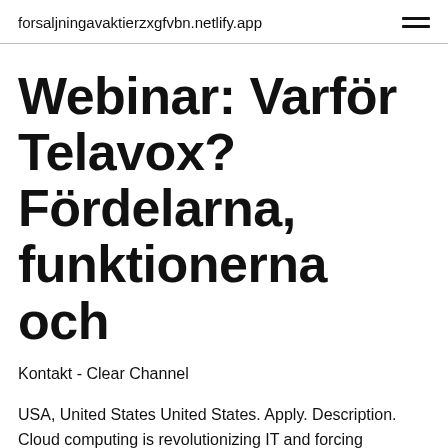forsaljningavaktierzxgfvbn.netlify.app
Webinar: Varför Telavox? Fördelarna, funktionerna och
Kontakt - Clear Channel
USA, United States United States. Apply. Description. Cloud computing is revolutionizing IT and forcing organizations to  Channel Marketing